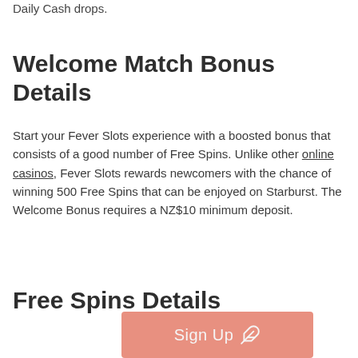Daily Cash drops.
Welcome Match Bonus Details
Start your Fever Slots experience with a boosted bonus that consists of a good number of Free Spins. Unlike other online casinos, Fever Slots rewards newcomers with the chance of winning 500 Free Spins that can be enjoyed on Starburst. The Welcome Bonus requires a NZ$10 minimum deposit.
Free Spins Details
[Figure (other): Pink 'Sign Up' button with a feather icon overlay]